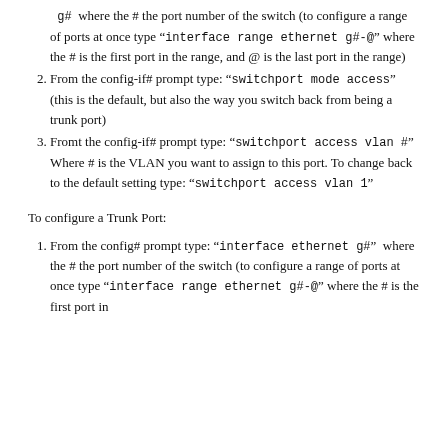g#  where the # the port number of the switch (to configure a range of ports at once type " interface range ethernet g#-@ " where the # is the first port in the range, and @ is the last port in the range)
From the config-if# prompt type: " switchport mode access " (this is the default, but also the way you switch back from being a trunk port)
Fromt the config-if# prompt type: " switchport access vlan # "  Where # is the VLAN you want to assign to this port. To change back to the default setting type: " switchport access vlan 1 "
To configure a Trunk Port:
From the config# prompt type: " interface ethernet g# "  where the # the port number of the switch (to configure a range of ports at once type " interface range ethernet g#-@ " where the # is the first port in